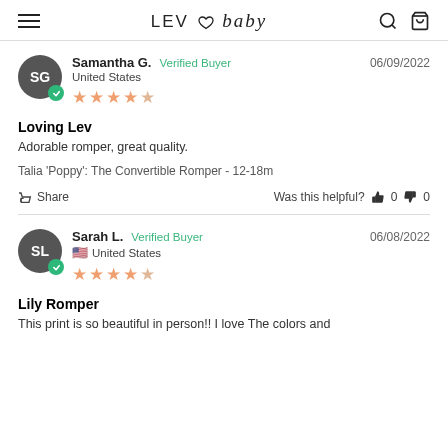LEV ♡ baby
Samantha G. Verified Buyer — 06/09/2022 — United States — ★★★★☆
Loving Lev
Adorable romper, great quality.
Talia 'Poppy': The Convertible Romper - 12-18m
Share — Was this helpful? 👍 0 👎 0
Sarah L. Verified Buyer — 06/08/2022 — United States — ★★★★☆
Lily Romper
This print is so beautiful in person!! I love The colors and